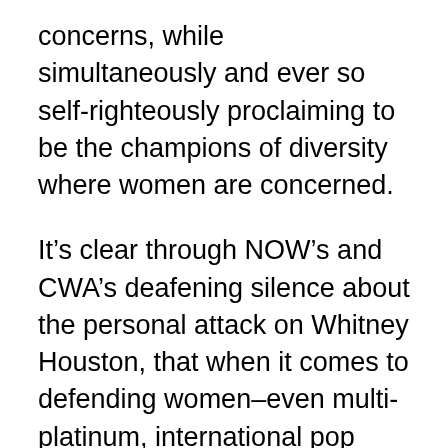concerns, while simultaneously and ever so self-righteously proclaiming to be the champions of diversity where women are concerned.
It’s clear through NOW’s and CWA’s deafening silence about the personal attack on Whitney Houston, that when it comes to defending women–even multi-platinum, international pop icons–that they are concerned only with sexist slurs hurled at White women.
So NOW and CWA, please, spare us all the sidestepping, double-talking, excuses and after-the-fact statements. Please, just make a simple modification to your names and add the word